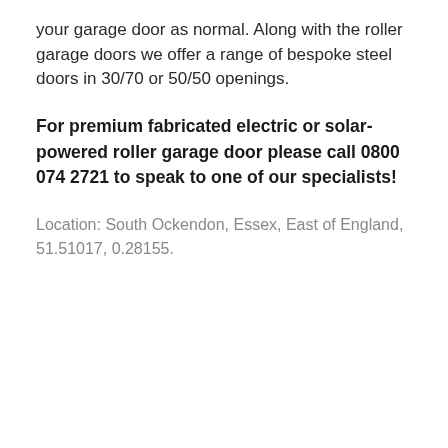your garage door as normal. Along with the roller garage doors we offer a range of bespoke steel doors in 30/70 or 50/50 openings.
For premium fabricated electric or solar-powered roller garage door please call 0800 074 2721 to speak to one of our specialists!
Location: South Ockendon, Essex, East of England, 51.51017, 0.28155.